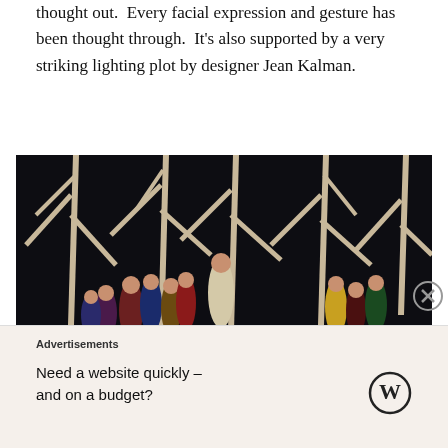practised for. The stage movement is very deliberate and thought out. Every facial expression and gesture has been thought through. It's also supported by a very striking lighting plot by designer Jean Kalman.
[Figure (photo): Theatre stage scene with performers gathered among large wooden tree-like structures against a dark background. Multiple actors in colorful costumes stand in a group at center-left, with one performer in light clothing slightly elevated above others.]
Advertisements
Need a website quickly – and on a budget?